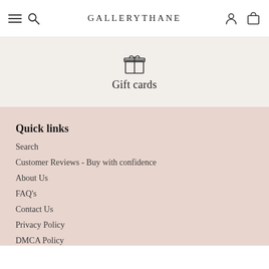GALLERYTHANE
Gift cards
Quick links
Search
Customer Reviews - Buy with confidence
About Us
FAQ's
Contact Us
Privacy Policy
DMCA Policy